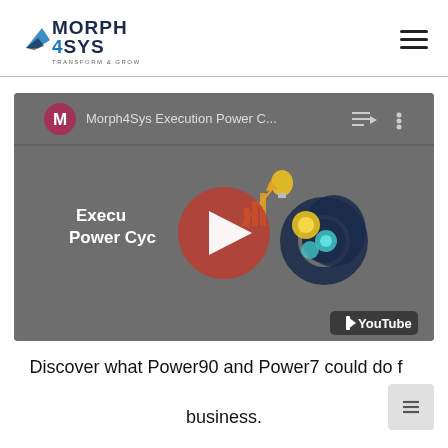[Figure (logo): Morph4Sys logo with tagline TRANSFORM & GROW]
[Figure (screenshot): YouTube video embed showing Morph4Sys Execution Power Cycle video with play button overlay, channel icon M, video title 'Morph4Sys Execution Power C...', and illustration of gears/lightbulb/head]
Discover what Power90 and Power7 could do for your business.